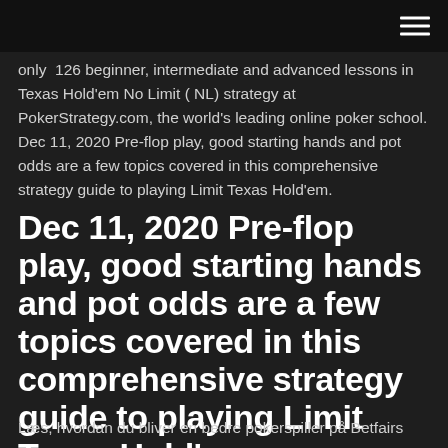[hamburger menu icon]
only  126 beginner, intermediate and advanced lessons in Texas Hold'em No Limit ( NL) strategy at PokerStrategy.com, the world's leading online poker school. Dec 11, 2020 Pre-flop play, good starting hands and pot odds are a few topics covered in this comprehensive strategy guide to playing Limit Texas Hold'em.
Dec 11, 2020 Pre-flop play, good starting hands and pot odds are a few topics covered in this comprehensive strategy guide to playing Limit Texas Hold'em.
Læs, hvordan du bliver en bedre pokerspiller på Betfairs